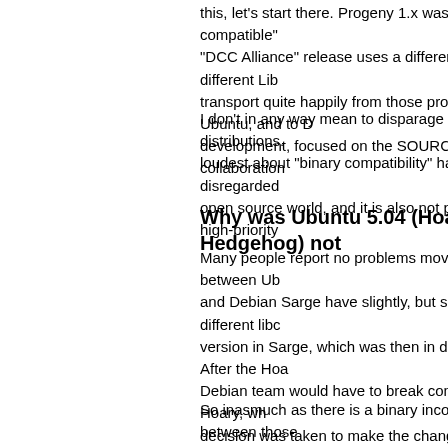this, let's start there. Progeny 1.x was not "binary compatible" "DCC Alliance" release uses a different kernel, and different Li transport quite happily from those projects to Ubuntu, and to D development, focused on the SOURCE CODE and collaboration
I don't in any way mean to disparage those other distributions. loudest about "binary compatibility" have happily disregarded open source world, and it is also not practical as a high-priority
Why was Ubuntu 5.04 (Hoary Hedgehog) not
Many people report no problems moving packages between Ub and Debian Sarge have slightly, but significantly, different libc version in Sarge, which was then in deep freeze. After the Hoa Debian team would have to break compatibility with Hoary, wh decision was taken to make the change. We (at Ubuntu) absolu source, and we can collaborate effectively if we focus on the s to maintain Ubuntu compatibility, then the open source world
So inasmuch as there is a binary incompatibility between those actively support the decision process that led to the incompati
What about the GCC 4.0 transition? Why did y
We always try to include the latest stable development tools, b